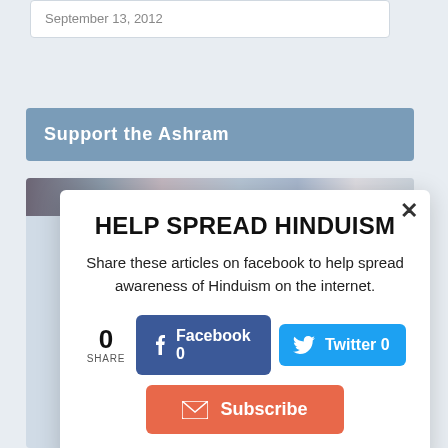September 13, 2012
Support the Ashram
[Figure (photo): Group photo strip of people]
HELP SPREAD HINDUISM
Share these articles on facebook to help spread awareness of Hinduism on the internet.
0 SHARE  Facebook 0  Twitter 0
Subscribe